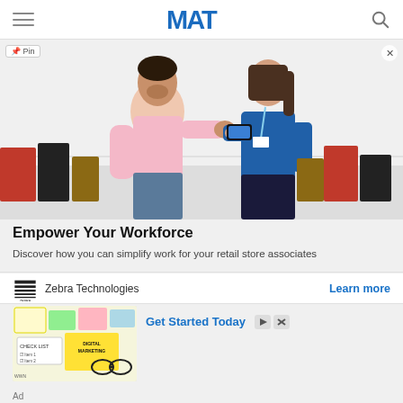MAT (Marketing Agency Technologies) navigation bar with hamburger menu, logo, and search icon
[Figure (photo): Retail scene: a male customer in a pink dress shirt and a female store associate in a blue polo shirt looking at a handheld device; shopping bags in background]
Empower Your Workforce
Discover how you can simplify work for your retail store associates
Zebra Technologies   Learn more
[Figure (photo): Digital marketing concept image: sticky notes and text reading DIGITAL MARKETING, CHECK LIST, with glasses and colorful notes]
Get Started Today
Ad